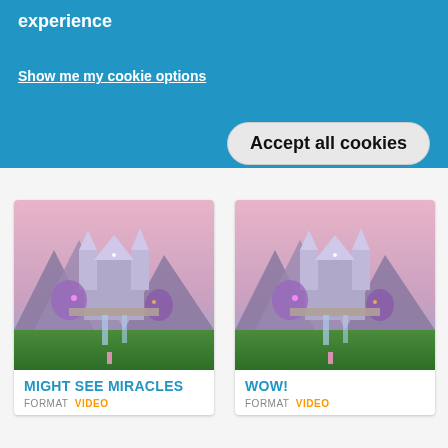experience
Show me my cookie options
Accept all cookies
[Figure (screenshot): Fantasy castle video thumbnail for 'Might See Miracles']
MIGHT SEE MIRACLES
FORMAT  VIDEO
[Figure (screenshot): Fantasy castle video thumbnail for 'WOW!']
WOW!
FORMAT  VIDEO